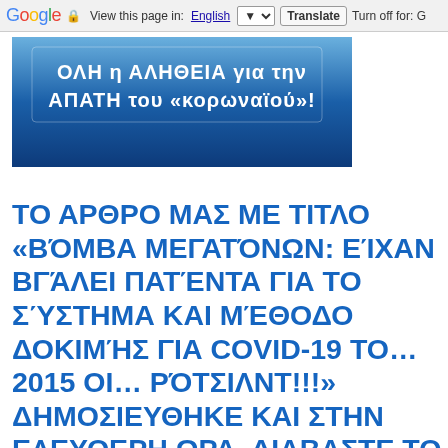Google  View this page in: English [▼]  Translate  Turn off for: G
[Figure (illustration): Blue gradient banner with white Greek text: ΟΛΗ η ΑΛΗΘΕΙΑ για την ΑΠΑΤΗ του «κορωναϊού»!]
ΤΟ ΑΡΘΡΟ ΜΑΣ ΜΕ ΤΙΤΛΟ «ΒΌΜΒΑ ΜΕΓΑΤΌΝΩΝ: ΕΊΧΑΝ ΒΓΆΛΕΙ ΠΑΤΈΝΤΑ ΓΙΑ ΤΟ ΣΎΣΤΗΜΑ ΚΑΙ ΜΈΘΟΔΟ ΔΟΚΙΜΉΣ ΓΙΑ COVID-19 ΤΟ… 2015 ΟΙ… ΡΌΤΣΙΛΝΤ!!!» ΔΗΜΟΣΙΕΥΘΗΚΕ ΚΑΙ ΣΤΗΝ ΕΛΕΥΘΕΡΗ ΩΡΑ. ΔΙΑΒΑΣΤΕ ΤΟ